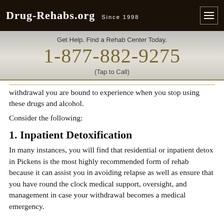DRUG-REHABS.ORG SINCE 1998
Get Help. Find a Rehab Center Today.
1-877-882-9275
(Tap to Call)
withdrawal you are bound to experience when you stop using these drugs and alcohol.
Consider the following:
1. Inpatient Detoxification
In many instances, you will find that residential or inpatient detox in Pickens is the most highly recommended form of rehab because it can assist you in avoiding relapse as well as ensure that you have round the clock medical support, oversight, and management in case your withdrawal becomes a medical emergency.